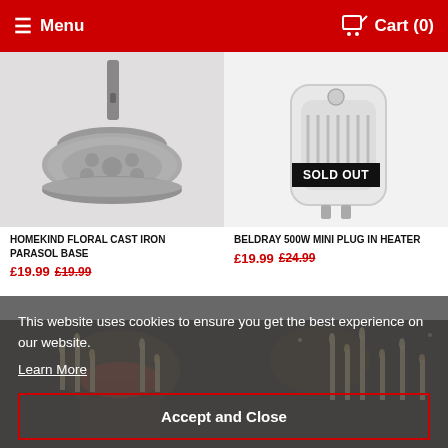Menu | Cart (0)
[Figure (photo): Homekind Floral Cast Iron Parasol Base - decorative round base with floral pattern]
[Figure (photo): Beldray 500W Mini Plug In Heater - small white plug-in heater unit with SOLD OUT badge]
HOMEKIND FLORAL CAST IRON PARASOL BASE
£19.99   £19.99
BELDRAY 500W MINI PLUG IN HEATER
£19.99   £24.99
[Figure (photo): Candle scene - dark background with lit candles and decorative items]
This website uses cookies to ensure you get the best experience on our website.
Learn More
Accept and Close